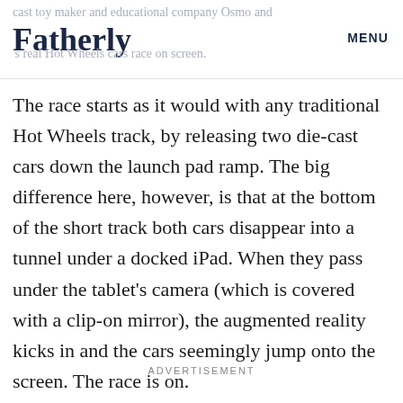cast toy maker and educational company Osmo and Fatherly MENU 's real Hot Wheels cars race on screen.
The race starts as it would with any traditional Hot Wheels track, by releasing two die-cast cars down the launch pad ramp. The big difference here, however, is that at the bottom of the short track both cars disappear into a tunnel under a docked iPad. When they pass under the tablet's camera (which is covered with a clip-on mirror), the augmented reality kicks in and the cars seemingly jump onto the screen. The race is on.
ADVERTISEMENT